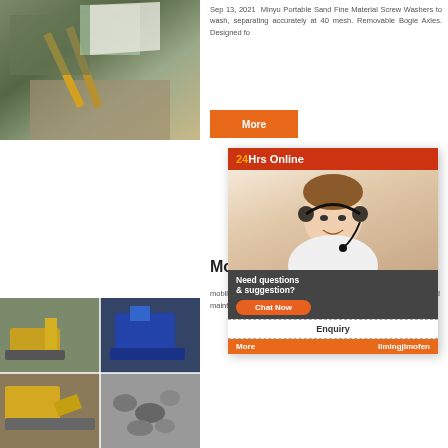[Figure (photo): Aerial/overhead view of a portable sand washing plant with conveyor belt machinery at a mining site.]
Sep 13, 2021  Minyu Portable Sand Fine Material Screw Washers to wash, separating accurately at 40 mesh. Removable Bogie Axles. Designed fo
[Figure (other): Orange More button]
[Figure (photo): 24Hrs Online chat widget with a customer service representative wearing a headset, with Chat Now button, Enquiry link, and limingjlmofen brand text.]
Mobile Fra...sh
mobile frac san...ida plant Home pro...nts for the fracking...he and maintain th...d p
[Figure (photo): Four-panel collage of mobile crushing and mining equipment — yellow excavator, blue crusher, yellow front loader, and pile of stones.]